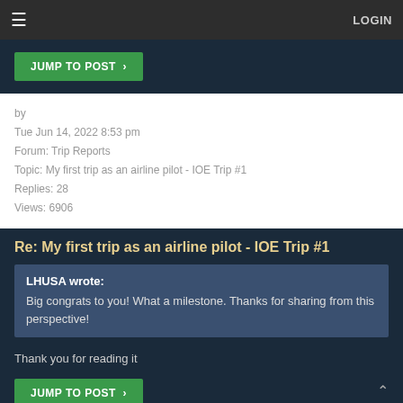≡  LOGIN
JUMP TO POST >
by
Tue Jun 14, 2022 8:53 pm
Forum: Trip Reports
Topic: My first trip as an airline pilot - IOE Trip #1
Replies: 28
Views: 6906
Re: My first trip as an airline pilot - IOE Trip #1
LHUSA wrote:
Big congrats to you! What a milestone. Thanks for sharing from this perspective!
Thank you for reading it
JUMP TO POST >
by